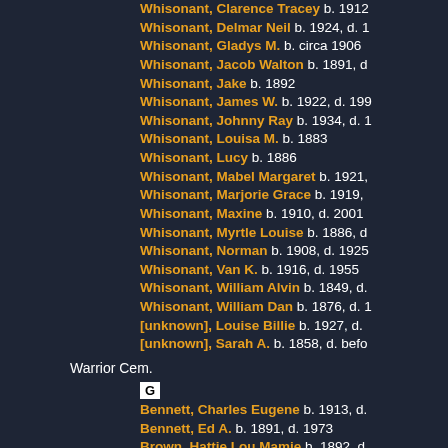Whisonant, Clarence Tracey  b. 1912
Whisonant, Delmar Neil  b. 1924, d. 1
Whisonant, Gladys M.  b. circa 1906
Whisonant, Jacob Walton  b. 1891, d
Whisonant, Jake  b. 1892
Whisonant, James W.  b. 1922, d. 199
Whisonant, Johnny Ray  b. 1934, d. 1
Whisonant, Louisa M.  b. 1883
Whisonant, Lucy  b. 1886
Whisonant, Mabel Margaret  b. 1921,
Whisonant, Marjorie Grace  b. 1919,
Whisonant, Maxine  b. 1910, d. 2001
Whisonant, Myrtle Louise  b. 1886, d
Whisonant, Norman  b. 1908, d. 1925
Whisonant, Van K.  b. 1916, d. 1955
Whisonant, William Alvin  b. 1849, d.
Whisonant, William Dan  b. 1876, d. 1
[unknown], Louise Billie  b. 1927, d.
[unknown], Sarah A.  b. 1858, d. befo
Warrior Cem.
G
Bennett, Charles Eugene  b. 1913, d.
Bennett, Ed A.  b. 1891, d. 1973
Brown, Hattie Lou Mamie  b. 1892, d
Brown, Nell Anita  b. 1910, d. 2007